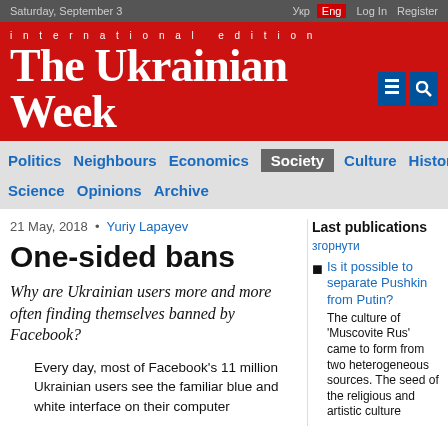Saturday, September 3
international edition The Ukrainian Week
Politics Neighbours Economics Society Culture History Science Opinions Archive
21 May, 2018 • Yuriy Lapayev
One-sided bans
Why are Ukrainian users more and more often finding themselves banned by Facebook?
Every day, most of Facebook's 11 million Ukrainian users see the familiar blue and white interface on their computer
Last publications
згорнути
Is it possible to separate Pushkin from Putin? The culture of 'Muscovite Rus' came to form from two heterogeneous sources. The seed of the religious and artistic culture